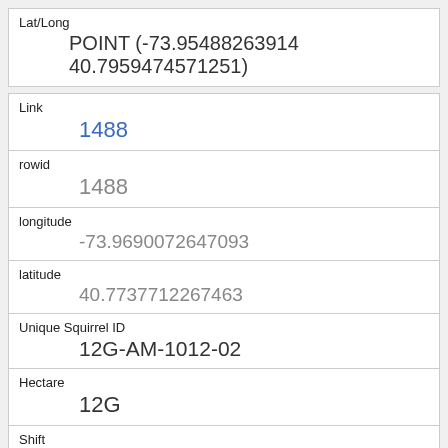| Lat/Long |
| --- |
| POINT (-73.95488263914 40.7959474571251) |
| Link | 1488 |
| rowid | 1488 |
| longitude | -73.9690072647093 |
| latitude | 40.7737712267463 |
| Unique Squirrel ID | 12G-AM-1012-02 |
| Hectare | 12G |
| Shift | AM |
| Date | 10122018 |
| Hectare Squirrel Number |  |